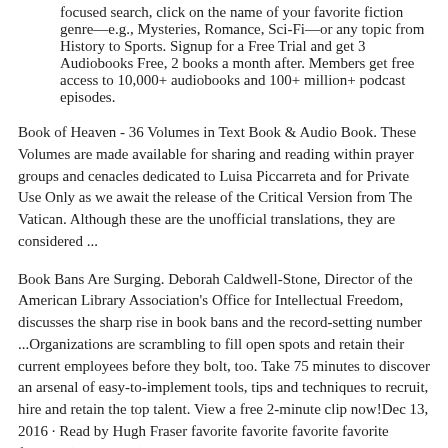focused search, click on the name of your favorite fiction genre—e.g., Mysteries, Romance, Sci-Fi—or any topic from History to Sports. Signup for a Free Trial and get 3 Audiobooks Free, 2 books a month after. Members get free access to 10,000+ audiobooks and 100+ million+ podcast episodes.
Book of Heaven - 36 Volumes in Text Book & Audio Book. These Volumes are made available for sharing and reading within prayer groups and cenacles dedicated to Luisa Piccarreta and for Private Use Only as we await the release of the Critical Version from The Vatican. Although these are the unofficial translations, they are considered ...
Book Bans Are Surging. Deborah Caldwell-Stone, Director of the American Library Association's Office for Intellectual Freedom, discusses the sharp rise in book bans and the record-setting number ...Organizations are scrambling to fill open spots and retain their current employees before they bolt, too. Take 75 minutes to discover an arsenal of easy-to-implement tools, tips and techniques to recruit, hire and retain the top talent. View a free 2-minute clip now!Dec 13, 2016 · Read by Hugh Fraser favorite favorite favorite favorite favorite ( 1 reviews ) Topics: Agatha Christie, audio-book, mystery, murder, detective Audio Library and Talking Books 28,819 29K